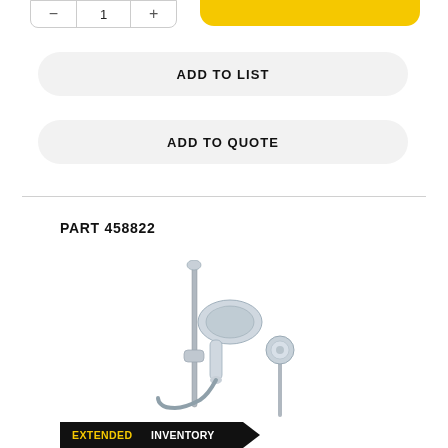[Figure (screenshot): Partial view of quantity selector and yellow Add to Cart button at top of page]
ADD TO LIST
ADD TO QUOTE
PART 458822
[Figure (photo): Chrome handheld shower system with slide bar, hand shower, hose, and wall-mounted supply elbow — Part 458822]
EXTENDED INVENTORY